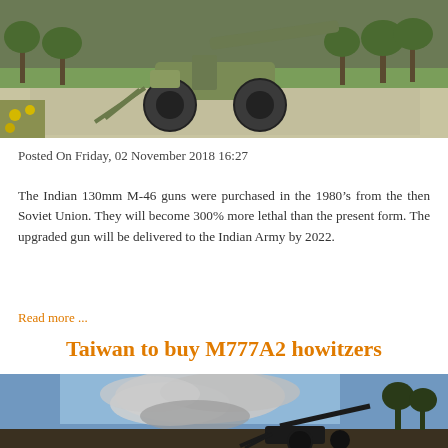[Figure (photo): A green military artillery gun (130mm M-46) on wheels, parked on a concrete path in a park with trees in the background.]
Posted On Friday, 02 November 2018 16:27
The Indian 130mm M-46 guns were purchased in the 1980’s from the then Soviet Union. They will become 300% more lethal than the present form. The upgraded gun will be delivered to the Indian Army by 2022.
Read more ...
Taiwan to buy M777A2 howitzers
[Figure (photo): A military howitzer firing, with a large smoke cloud visible against a blue sky background.]